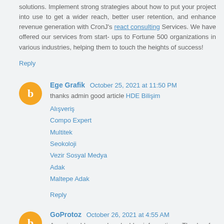solutions. Implement strong strategies about how to put your project into use to get a wider reach, better user retention, and enhance revenue generation with CronJ's react consulting Services. We have offered our services from start- ups to Fortune 500 organizations in various industries, helping them to touch the heights of success!
Reply
Ege Grafik  October 25, 2021 at 11:50 PM
thanks admin good article HDE Bilişim
Alışveriş
Compo Expert
Multitek
Seokoloji
Vezir Sosyal Medya
Adak
Maltepe Adak
Reply
GoProtoz  October 26, 2021 at 4:55 AM
Amazing blog and valuable information. Thanks for putting so much effort in writing this article.
UI UX Design Company
Reply